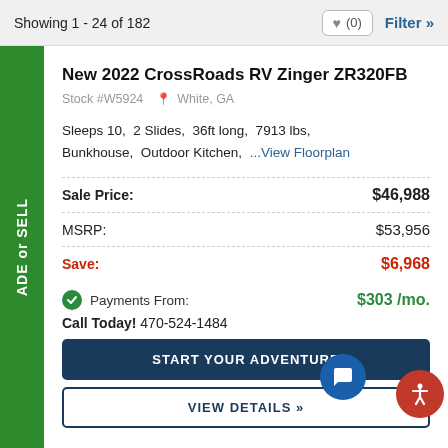Showing 1 - 24 of 182   ♥ (0)   Filter »
New 2022 CrossRoads RV Zinger ZR320FB
Stock #W5924  White, GA
Sleeps 10,  2 Slides,  36ft long,  7913 lbs,  Bunkhouse,  Outdoor Kitchen,  ...View Floorplan
| Label | Value |
| --- | --- |
| Sale Price: | $46,988 |
| MSRP: | $53,956 |
| Save: | $6,968 |
| Payments From: | $303 /mo. |
Call Today! 470-524-1484
START YOUR ADVENTURE
VIEW DETAILS »